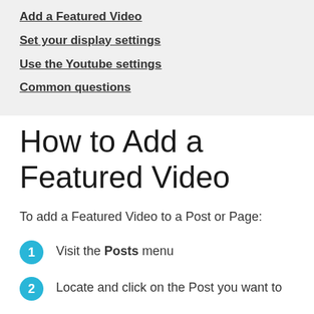Add a Featured Video
Set your display settings
Use the Youtube settings
Common questions
How to Add a Featured Video
To add a Featured Video to a Post or Page:
Visit the Posts menu
Locate and click on the Post you want to